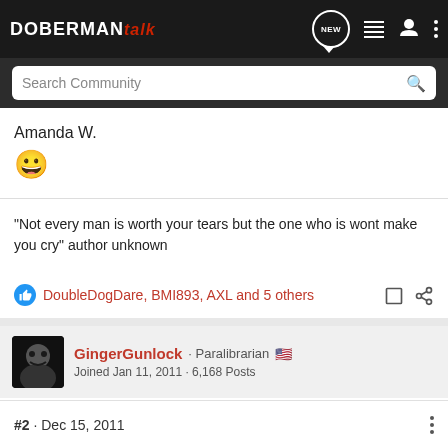DOBERMAN talk
Search Community
Amanda W.
[Figure (other): Grinning face emoji 😀]
"Not every man is worth your tears but the one who is wont make you cry" author unknown
DoubleDogDare, BMI893, AXL and 5 others
GingerGunlock · Paralibrarian 🇺🇸
Joined Jan 11, 2011 · 6,168 Posts
#2 · Dec 15, 2011